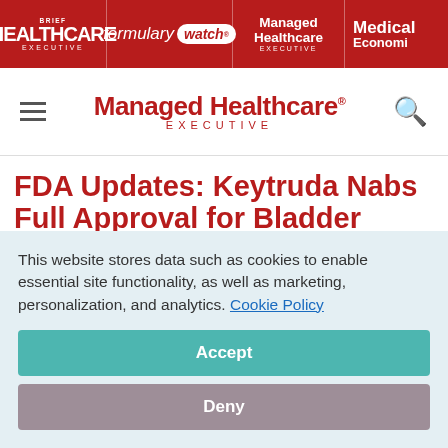HEALTHCARE EXECUTIVE | formulary watch | Managed Healthcare EXECUTIVE | Medical Economics
Managed Healthcare EXECUTIVE
FDA Updates: Keytruda Nabs Full Approval for Bladder Cancer and a Therapy for Schizophrenia is Approved
This website stores data such as cookies to enable essential site functionality, as well as marketing, personalization, and analytics. Cookie Policy
Accept
Deny